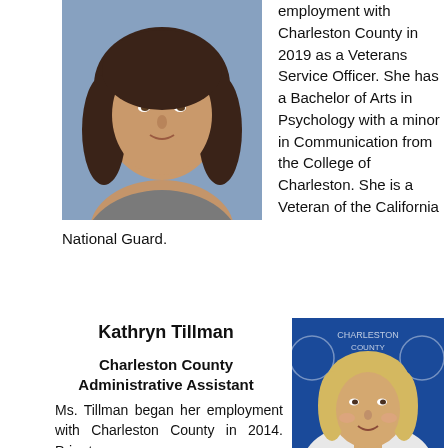[Figure (photo): Headshot of a young woman with long dark wavy hair, wearing a gray top, in front of a blue background with decorative pattern.]
employment with Charleston County in 2019 as a Veterans Service Officer. She has a Bachelor of Arts in Psychology with a minor in Communication from the College of Charleston. She is a Veteran of the California National Guard.
Kathryn Tillman
Charleston County Administrative Assistant
Ms. Tillman began her employment with Charleston County in 2014. Prior to
[Figure (photo): Headshot of a middle-aged blonde woman smiling, in front of a blue Charleston County banner background.]